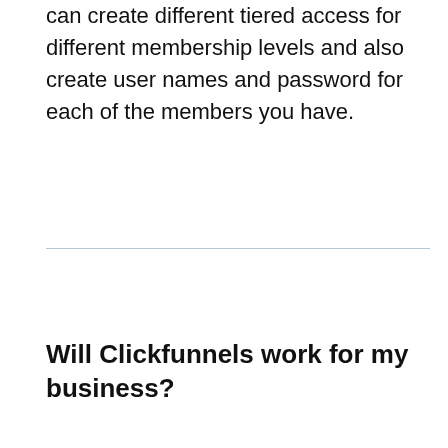can create different tiered access for different membership levels and also create user names and password for each of the members you have.
Will Clickfunnels work for my business?